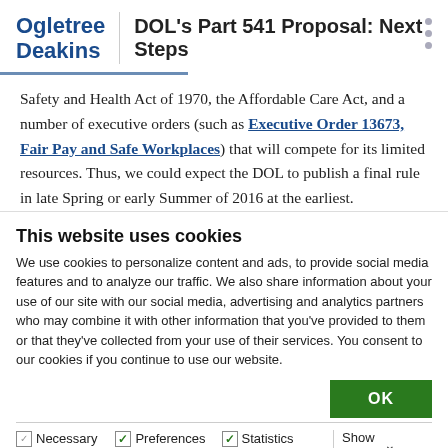Ogletree Deakins | DOL's Part 541 Proposal: Next Steps
Safety and Health Act of 1970, the Affordable Care Act, and a number of executive orders (such as Executive Order 13673, Fair Pay and Safe Workplaces) that will compete for its limited resources. Thus, we could expect the DOL to publish a final rule in late Spring or early Summer of 2016 at the earliest.
This website uses cookies
We use cookies to personalize content and ads, to provide social media features and to analyze our traffic. We also share information about your use of our site with our social media, advertising and analytics partners who may combine it with other information that you've provided to them or that they've collected from your use of their services. You consent to our cookies if you continue to use our website.